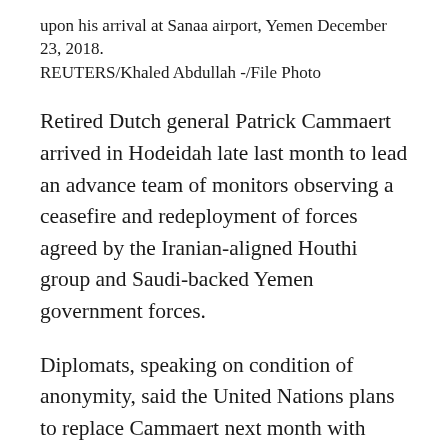upon his arrival at Sanaa airport, Yemen December 23, 2018. REUTERS/Khaled Abdullah -/File Photo
Retired Dutch general Patrick Cammaert arrived in Hodeidah late last month to lead an advance team of monitors observing a ceasefire and redeployment of forces agreed by the Iranian-aligned Houthi group and Saudi-backed Yemen government forces.
Diplomats, speaking on condition of anonymity, said the United Nations plans to replace Cammaert next month with Danish Major General Michael Anker Lollesgaard, who led a U.N. peacekeeping mission in Mali in 2015 and 2016.
Lollesgaard - who, like Cammaert, will report to U.N.